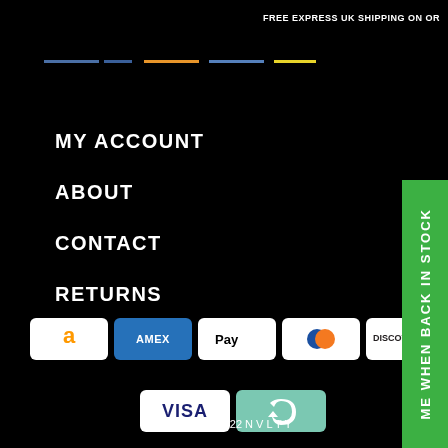FREE EXPRESS UK SHIPPING ON OR...
[Figure (logo): Navigation logo icons with colored underlines (blue, orange, blue, yellow)]
MY ACCOUNT
ABOUT
CONTACT
RETURNS
[Figure (other): Payment method icons: Amazon, Amex, Apple Pay, Diners Club, Discover, Mastercard, PayPal (partial)]
[Figure (other): Payment method icons row 2: Visa, Shop Pay (recycling arrows icon)]
Copyright © 2022 N V L T Y
[Figure (other): Green side banner with vertical text: ME WHEN BACK IN STOCK]